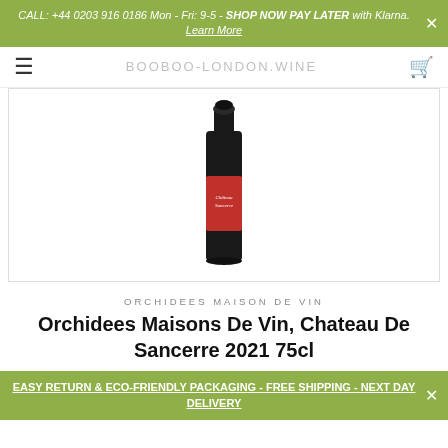CALL: +44 0203 916 0186 Mon - Fri: 9-5 - SHOP NOW PAY LATER with Klarna. Learn More
BOOBOO-LONDON.WINE
[Figure (photo): A dark wine bottle with a red label showing Chateau de Sancerre, photographed against a white background.]
ORCHIDEES MAISON DE VIN
Orchidees Maisons De Vin, Chateau De Sancerre 2021 75cl
EASY RETURN & ECO-FRIENDLY PACKAGING - FREE SHIPPING - NEXT DAY DELIVERY